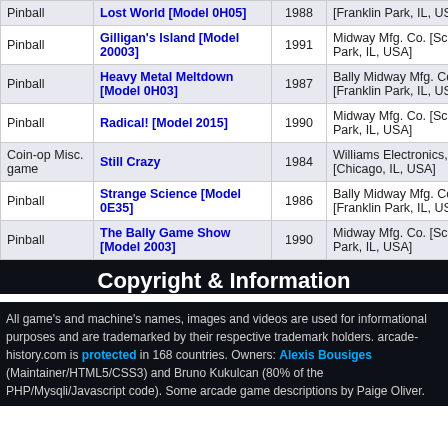| Type | Name | Year | Manufacturer |
| --- | --- | --- | --- |
| Pinball | Lost World [Model 0H05] | 1988 | Franklin Park, IL, USA |
| Pinball | Gilligan's Island [Model 20003] | 1991 | Midway Mfg. Co. [Schiller Park, IL, USA] |
| Pinball | Heavy Metal Meltdown [Model 0H03] | 1987 | Bally Midway Mfg. Co. [Franklin Park, IL, USA] |
| Pinball | Radical! [Model 2015] | 1990 | Midway Mfg. Co. [Schiller Park, IL, USA] |
| Coin-op Misc. game | Still Crazy | 1984 | Williams Electronics, Inc. [Chicago, IL, USA] |
| Pinball | Strange Science [Model 0E35] | 1986 | Bally Midway Mfg. Co. [Franklin Park, IL, USA] |
| Pinball | The Bally Game Show [Model 2003] | 1990 | Midway Mfg. Co. [Schiller Park, IL, USA] |
Copyright & Information
All game's and machine's names, images and videos are used for informational purposes and are trademarked by their respective trademark holders. arcade-history.com is protected in 168 countries. Owners: Alexis Bousiges (Maintainer/HTML5/CSS3) and Bruno Kukulcan (80% of the PHP/Mysqli/Javascript code). Some arcade game descriptions by Paige Oliver.